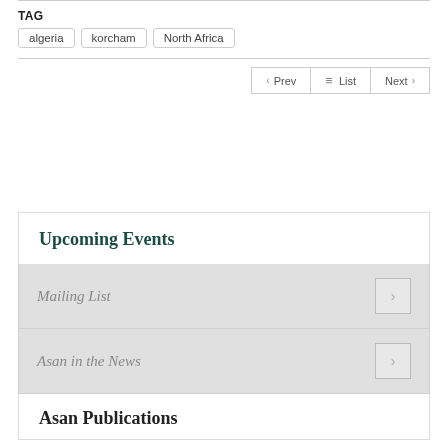TAG
algeria
korcham
North Africa
Prev  List  Next
Upcoming Events
Mailing List
Asan in the News
Asan Publications